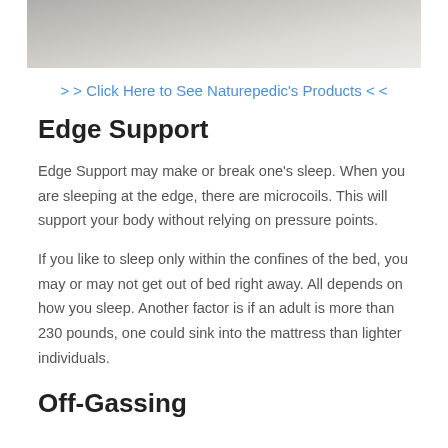[Figure (photo): Partial view of a white bed with pillows and bedding, cropped at bottom]
> > Click Here to See Naturepedic's Products < <
Edge Support
Edge Support may make or break one's sleep. When you are sleeping at the edge, there are microcoils. This will support your body without relying on pressure points.
If you like to sleep only within the confines of the bed, you may or may not get out of bed right away. All depends on how you sleep. Another factor is if an adult is more than 230 pounds, one could sink into the mattress than lighter individuals.
Off-Gassing